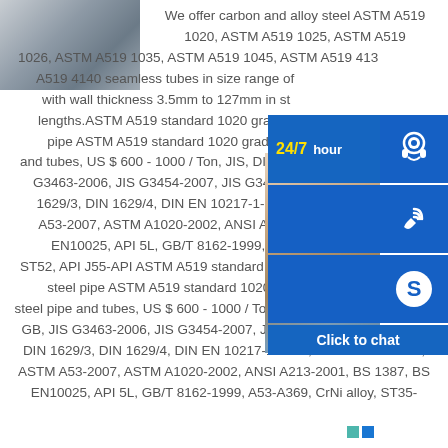[Figure (photo): Stack of steel plates/sheets, gray metallic color]
[Figure (photo): Customer service agent (woman smiling with headset) with blue overlay UI showing 24/7 hour support, phone, Skype icons and Click to chat button]
We offer carbon and alloy steel ASTM A519 1020, ASTM A519 1025, ASTM A519 1026, ASTM A519 1035, ASTM A519 1045, ASTM A519 4130, ASTM A519 4140 seamless tubes in size range of OD with wall thickness 3.5mm to 127mm in standard lengths.ASTM A519 standard 1020 grade smls seamless pipe ASTM A519 standard 1020 grade smls seamless and tubes, US $ 600 - 1000 / Ton, JIS, DIN, ASTM, JIS G3463-2006, JIS G3454-2007, JIS G3452-2004, DIN 1629/3, DIN 1629/4, DIN EN 10217-1-2005, ASTM A106-2006, ASTM A53-2007, ASTM A1020-2002, ANSI A213-2001, BS 1387, BS EN10025, API 5L, GB/T 8162-1999, A53-A369, CrNi alloy, ST52, API J55-API ASTM A519 standard 1020 grade smls seamless steel pipe ASTM A519 standard 1020 grade smls seamless steel pipe and tubes, US $ 600 - 1000 / Ton, JIS, DIN, ASTM, BS, API, GB, JIS G3463-2006, JIS G3454-2007, JIS G3452-2004, DIN 1626, DIN 1629/3, DIN 1629/4, DIN EN 10217-1-2005, ASTM A106-2006, ASTM A53-2007, ASTM A1020-2002, ANSI A213-2001, BS 1387, BS EN10025, API 5L, GB/T 8162-1999, A53-A369, CrNi alloy, ST35-